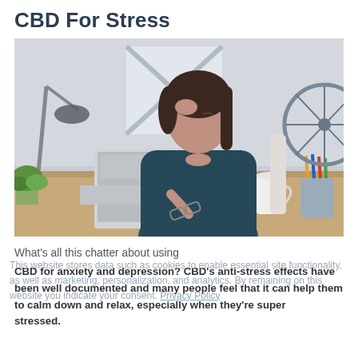CBD For Stress
[Figure (photo): Woman sitting at a desk in an office, holding glasses to her forehead with eyes closed, appearing stressed. A laptop, white coffee mug, and pencil holder are on the desk. A lamp and bicycle are visible in the background.]
What's all this chatter about using CBD for anxiety and depression? CBD's anti-stress effects have been well documented and many people feel that it can help them to calm down and relax, especially when they're super stressed.
This website stores data such as cookies to enable essential site functionality, as well as marketing, personalization, and analytics. By remaining on this website you indicate your consent. Privacy Policy